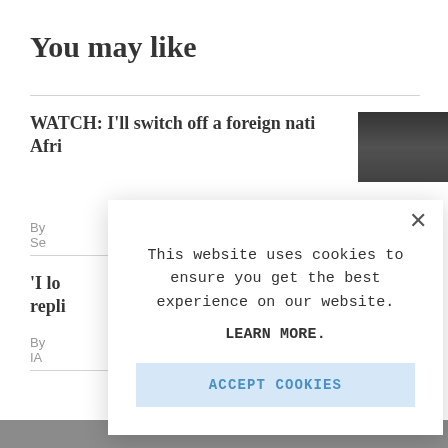You may like
WATCH: I'll switch off a foreign nati... Afri...
By Se...
'I lo... repli...
By IA...
[Figure (screenshot): Cookie consent modal dialog over a news website. Modal contains text: 'This website uses cookies to ensure you get the best experience on our website. LEARN MORE.' and an 'ACCEPT COOKIES' button. A close (X) button is in the top right of the modal.]